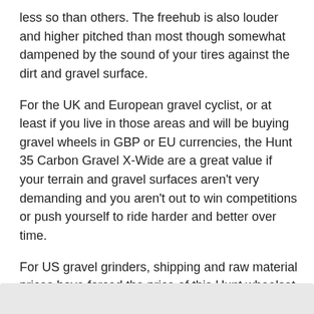less so than others. The freehub is also louder and higher pitched than most though somewhat dampened by the sound of your tires against the dirt and gravel surface.
For the UK and European gravel cyclist, or at least if you live in those areas and will be buying gravel wheels in GBP or EU currencies, the Hunt 35 Carbon Gravel X-Wide are a great value if your terrain and gravel surfaces aren't very demanding and you aren't out to win competitions or push yourself to ride harder and better over time.
For US gravel grinders, shipping and raw material prices have forced the price of this Hunt wheelset up to where it costs nearly the same as wheelsets in this category that outperform it.